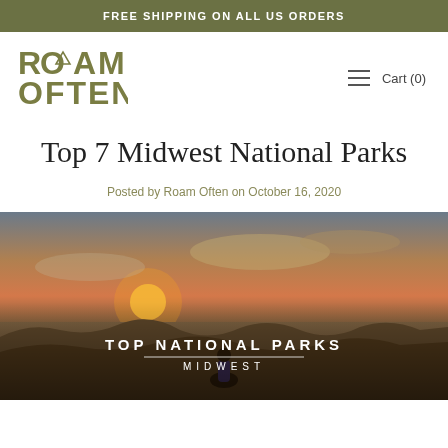FREE SHIPPING ON ALL US ORDERS
[Figure (logo): Roam Often logo with triangle/mountain icon inside letter O]
Cart (0)
Top 7 Midwest National Parks
Posted by Roam Often on October 16, 2020
[Figure (photo): Sunset landscape photo over Badlands terrain with person sitting in foreground, overlaid with text: TOP NATIONAL PARKS / MIDWEST]